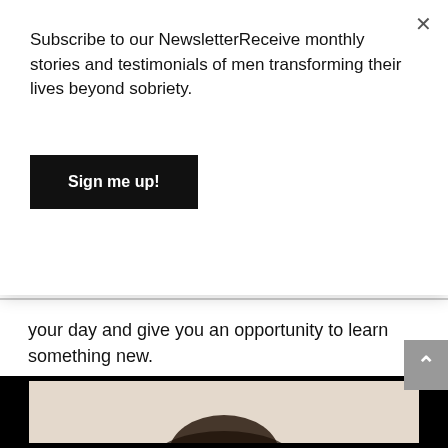Subscribe to our NewsletterReceive monthly stories and testimonials of men transforming their lives beyond sobriety.
Sign me up!
your day and give you an opportunity to learn something new.
LEARN MORE
[Figure (photo): Bottom image strip showing a dark bordered frame with a light interior, partially showing a person's head/hair at the bottom of the page.]